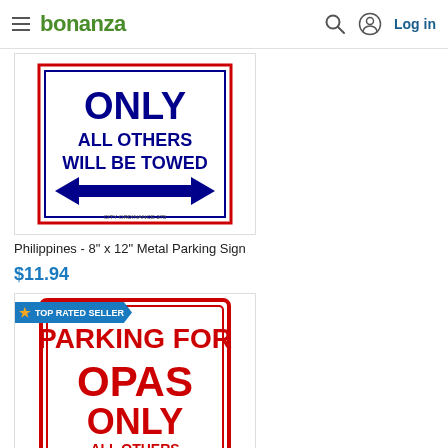bonanza — Log in
[Figure (photo): Metal parking sign for Philippines with blue text reading ONLY ALL OTHERS WILL BE TOWED and a double-headed blue arrow, red and blue border]
Philippines - 8" x 12" Metal Parking Sign
$11.94
[Figure (photo): Metal parking sign reading PARKING FOR OPAS ONLY ALL OTHERS WILL BE TOWED with red text and red/white design, TOP RATED SELLER badge visible]